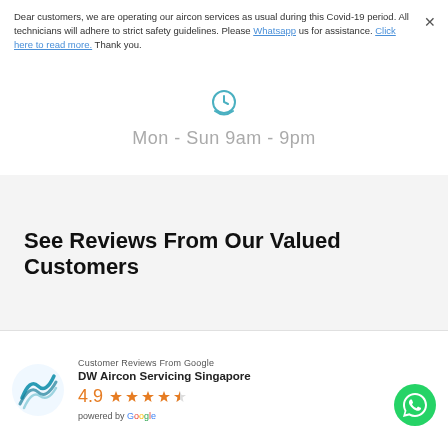Dear customers, we are operating our aircon services as usual during this Covid-19 period. All technicians will adhere to strict safety guidelines. Please Whatsapp us for assistance. Click here to read more. Thank you.
Mon - Sun 9am - 9pm
See Reviews From Our Valued Customers
[Figure (logo): DW Aircon Servicing Singapore logo - teal wave design]
Customer Reviews From Google
DW Aircon Servicing Singapore
4.9 ★★★★½
powered by Google
[Figure (logo): WhatsApp green circular button with phone icon]